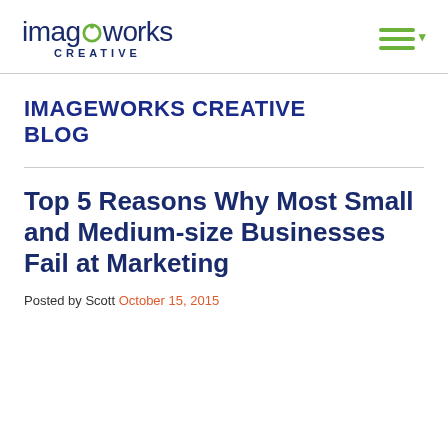[Figure (logo): Imageworks Creative logo with dark blue text and green gear-style 'o', with CREATIVE subtitle in caps]
IMAGEWORKS CREATIVE BLOG
Top 5 Reasons Why Most Small and Medium-size Businesses Fail at Marketing
Posted by Scott October 15, 2015